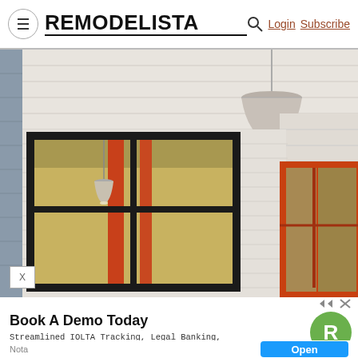REMODELISTA — Login  Subscribe
[Figure (photo): Interior/exterior architectural photo showing a house with black-framed windows, orange/red-framed door, white horizontal siding, and hanging pendant light fixture]
Book A Demo Today
Streamlined IOLTA Tracking, Legal Banking, and Business Checking for Small Law Firms.
Nota
Open